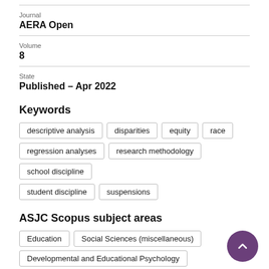Journal
AERA Open
Volume
8
State
Published – Apr 2022
Keywords
descriptive analysis
disparities
equity
race
regression analyses
research methodology
school discipline
student discipline
suspensions
ASJC Scopus subject areas
Education
Social Sciences (miscellaneous)
Developmental and Educational Psychology